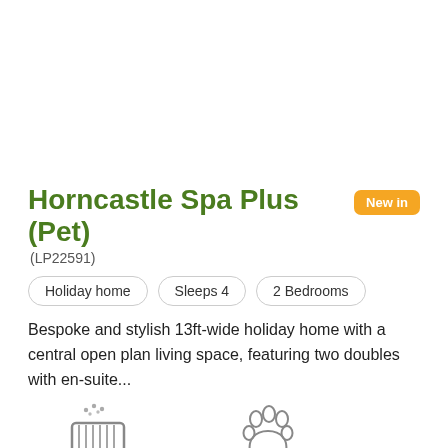Horncastle Spa Plus (Pet)
(LP22591)
New in
Holiday home
Sleeps 4
2 Bedrooms
Bespoke and stylish 13ft-wide holiday home with a central open plan living space, featuring two doubles with en-suite...
[Figure (illustration): Hot tub icon with water droplets above a rectangular tub]
Hot Tub
[Figure (illustration): Paw print icon for pet friendly]
Pet Friendly
Prices from